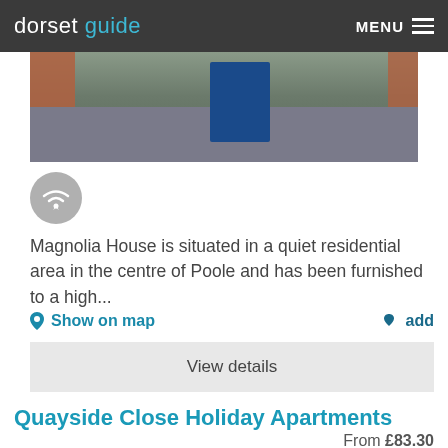dorset guide  MENU
[Figure (photo): Exterior photo showing a brick building with a blue door and cobblestone/paved area in front]
[Figure (illustration): WiFi/signal icon in a grey circle]
Magnolia House is situated in a quiet residential area in the centre of Poole and has been furnished to a high...
Show on map   add
View details
Quayside Close Holiday Apartments
From £83.30
[Figure (photo): Partially visible photo showing trees and foliage]